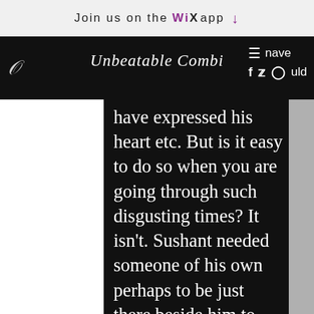Join us on the WiX app ↓
Unbeatable Combi — navigation bar with hamburger menu, social icons (f, twitter, instagram), nave, uld
have expressed his heart etc. But is it easy to do so when you are going through such disgusting times? It isn't. Sushant needed someone of his own perhaps to be just there beside him to make him know that he is loved. Many of us may feel no one loves us, but if we think about it, there are people around us who care for us. Who